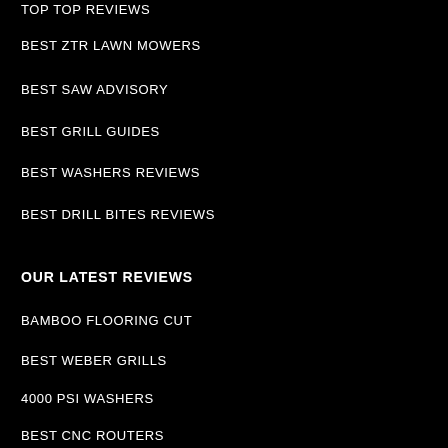BEST ZTR LAWN MOWERS
BEST SAW ADVISORY
BEST GRILL GUIDES
BEST WASHERS REVIEWS
BEST DRILL BITES REVIEWS
OUR LATEST REVIEWS
BAMBOO FLOORING CUT
BEST WEBER GRILLS
4000 PSI WASHERS
BEST CNC ROUTERS
BEST GAS GRILLS